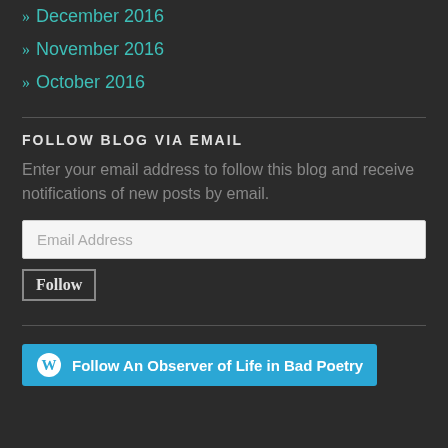» December 2016
» November 2016
» October 2016
FOLLOW BLOG VIA EMAIL
Enter your email address to follow this blog and receive notifications of new posts by email.
Email Address
Follow
Follow An Observer of Life in Bad Poetry